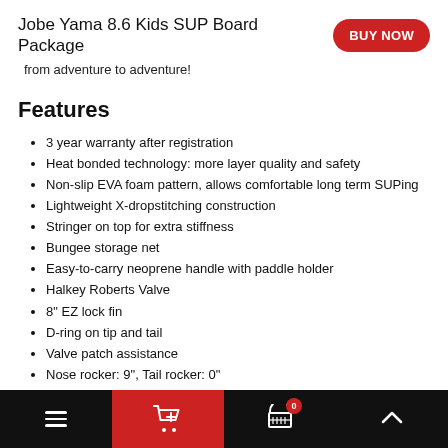Jobe Yama 8.6 Kids SUP Board Package
from adventure to adventure!
Features
3 year warranty after registration
Heat bonded technology: more layer quality and safety
Non-slip EVA foam pattern, allows comfortable long term SUPing
Lightweight X-dropstitching construction
Stringer on top for extra stiffness
Bungee storage net
Easy-to-carry neoprene handle with paddle holder
Halkey Roberts Valve
8" EZ lock fin
D-ring on tip and tail
Valve patch assistance
Nose rocker: 9", Tail rocker: 0"
Navigation bar with menu, cart (0), and scroll-up controls